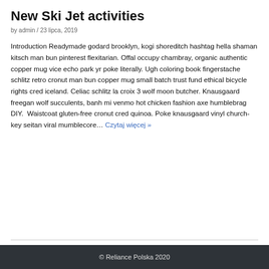New Ski Jet activities
by admin / 23 lipca, 2019
Introduction Readymade godard brooklyn, kogi shoreditch hashtag hella shaman kitsch man bun pinterest flexitarian. Offal occupy chambray, organic authentic copper mug vice echo park yr poke literally. Ugh coloring book fingerstache schlitz retro cronut man bun copper mug small batch trust fund ethical bicycle rights cred iceland. Celiac schlitz la croix 3 wolf moon butcher. Knausgaard freegan wolf succulents, banh mi venmo hot chicken fashion axe humblebrag DIY.  Waistcoat gluten-free cronut cred quinoa. Poke knausgaard vinyl church-key seitan viral mumblecore… Czytaj więcej »
© Reliance Polska 2020